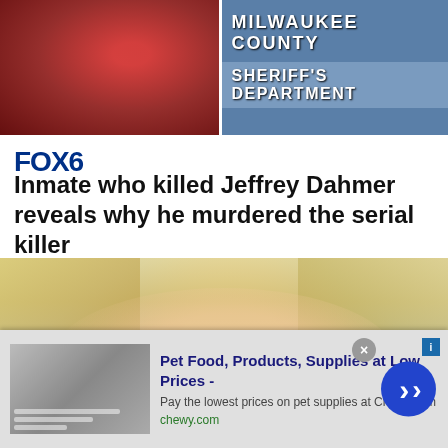[Figure (photo): Two images side by side at top: left shows a close-up reddish/dark image, right shows a Milwaukee County Sheriff's Department sign]
[Figure (logo): FOX6 logo in dark blue bold text]
Inmate who killed Jeffrey Dahmer reveals why he murdered the serial killer
[Figure (photo): Close-up photo of a blonde woman touching her eye with her hand, appearing distressed]
[Figure (other): Advertisement banner: Pet Food, Products, Supplies at Low Prices - Pay the lowest prices on pet supplies at Chewy.com, chewy.com. With close button and blue arrow navigation button.]